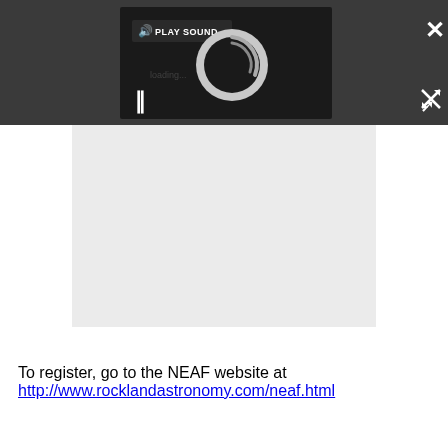[Figure (screenshot): Dark toolbar/overlay with a video player showing a loading spinner and play sound button, with a pause button (||), a close (X) button top-right, and an expand button bottom-right.]
[Figure (screenshot): Light grey content area below the video player overlay, representing a loading or empty media content region.]
To register, go to the NEAF website at http://www.rocklandastronomy.com/neaf.html